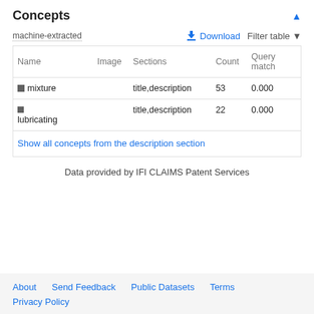Concepts
machine-extracted
| Name | Image | Sections | Count | Query match |
| --- | --- | --- | --- | --- |
| ■ mixture |  | title,description | 53 | 0.000 |
| ■ lubricating |  | title,description | 22 | 0.000 |
| Show all concepts from the description section |  |  |  |  |
Data provided by IFI CLAIMS Patent Services
About  Send Feedback  Public Datasets  Terms  Privacy Policy